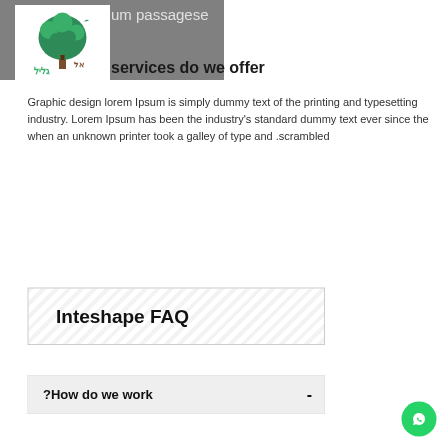um passagese
[Figure (logo): Tree logo with Hebrew text (גליל אל) in green and brown colors]
services do we offer
Graphic design lorem Ipsum is simply dummy text of the printing and typesetting industry. Lorem Ipsum has been the industry's standard dummy text ever since the when an unknown printer took a galley of type and .scrambled
Inteshape FAQ
?How do we work